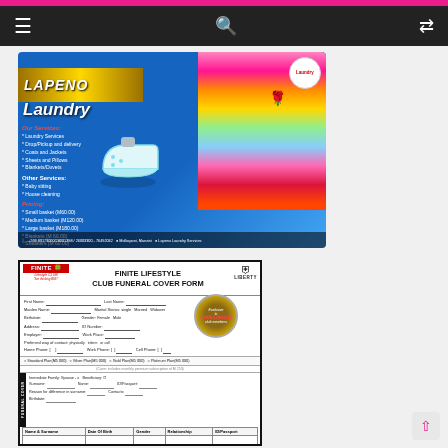Navigation bar with hamburger menu, search icon, and shuffle icon
[Figure (photo): Lapenu Laundry Services advertisement showing laundry iron, stacked colorful clothes, services list, pricing, and contact information on blue background]
[Figure (infographic): Finite Lifestyle Club Funeral Cover Form with Liberty logo, form fields for personal details, plan options (Standard, Silver, Gold, Platinum), beneficiary section, and a table for Name & Surname, Date of Birth, Gender, Relationship, ID/Passport]